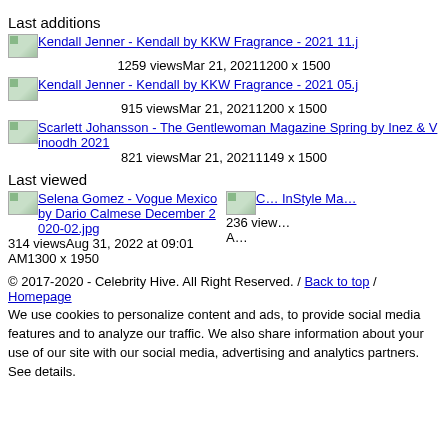Last additions
[Figure (photo): Thumbnail image for Kendall Jenner - Kendall by KKW Fragrance - 2021 11.j]
1259 viewsMar 21, 20211200 x 1500
[Figure (photo): Thumbnail image for Kendall Jenner - Kendall by KKW Fragrance - 2021 05.j]
915 viewsMar 21, 20211200 x 1500
[Figure (photo): Thumbnail image for Scarlett Johansson - The Gentlewoman Magazine Spring by Inez & Vinoodh 2021]
821 viewsMar 21, 20211149 x 1500
Last viewed
[Figure (photo): Thumbnail image for Selena Gomez - Vogue Mexico by Dario Calmese December 2020-02.jpg]
314 viewsAug 31, 2022 at 09:01 AM1300 x 1950
[Figure (photo): Thumbnail image partially visible - InStyle Ma...]
236 view...
© 2017-2020 - Celebrity Hive. All Right Reserved. / Back to top / Homepage
We use cookies to personalize content and ads, to provide social media features and to analyze our traffic. We also share information about your use of our site with our social media, advertising and analytics partners. See details.